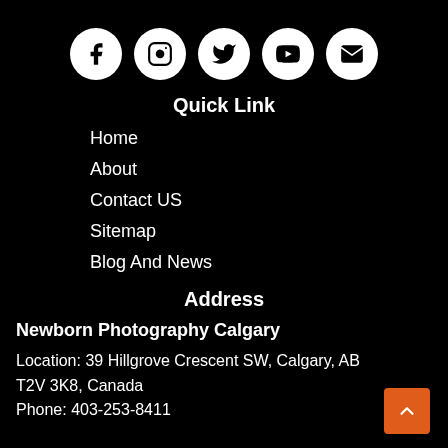[Figure (infographic): Five social media icons in white circles on black background: Facebook, Instagram, Twitter, YouTube, Email]
Quick Link
Home
About
Contact US
Sitemap
Blog And News
Address
Newborn Photography Calgary
Location: 39 Hillgrove Crescent SW, Calgary, AB
T2V 3K8, Canada
Phone: 403-253-8411